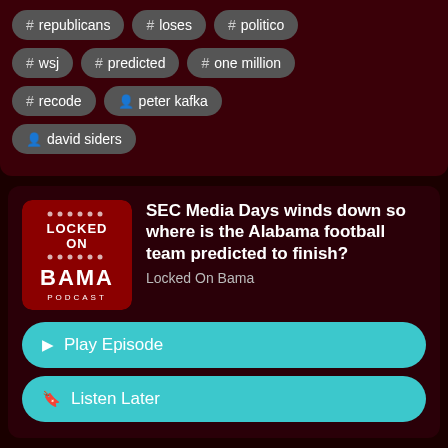# republicans
# loses
# politico
# wsj
# predicted
# one million
# recode
person peter kafka
person david siders
[Figure (logo): Locked On Bama Podcast logo — dark red background with text LOCKED ON BAMA PODCAST]
SEC Media Days winds down so where is the Alabama football team predicted to finish?
Locked On Bama
Play Episode
Listen Later